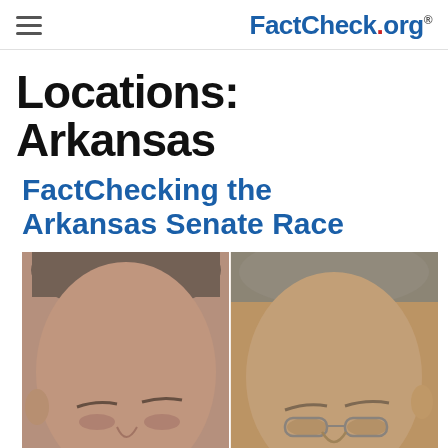FactCheck.org
Locations: Arkansas
FactChecking the Arkansas Senate Race
[Figure (photo): Side-by-side close-up photos of two men, candidates in the Arkansas Senate Race]